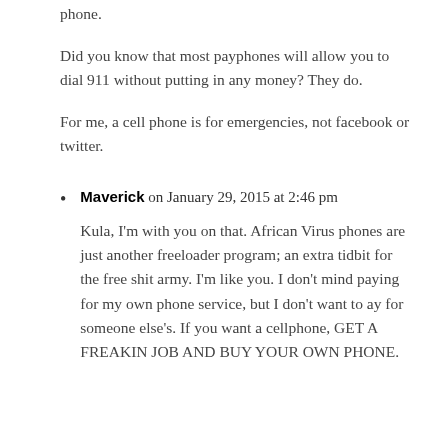phone.
Did you know that most payphones will allow you to dial 911 without putting in any money? They do.
For me, a cell phone is for emergencies, not facebook or twitter.
Maverick on January 29, 2015 at 2:46 pm
Kula, I'm with you on that. African Virus phones are just another freeloader program; an extra tidbit for the free shit army. I'm like you. I don't mind paying for my own phone service, but I don't want to ay for someone else's. If you want a cellphone, GET A FREAKIN JOB AND BUY YOUR OWN PHONE.